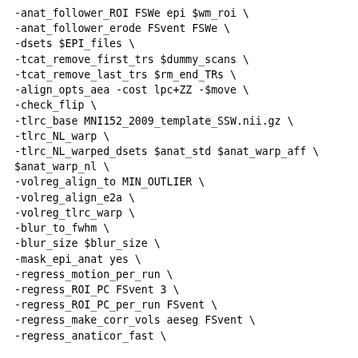-anat_follower_ROI FSWe epi $wm_roi \
-anat_follower_erode FSvent FSWe \
-dsets $EPI_files \
-tcat_remove_first_trs $dummy_scans \
-tcat_remove_last_trs $rm_end_TRs \
-align_opts_aea -cost lpc+ZZ -$move \
-check_flip \
-tlrc_base MNI152_2009_template_SSW.nii.gz \
-tlrc_NL_warp \
-tlrc_NL_warped_dsets $anat_std $anat_warp_aff \
$anat_warp_nl \
-volreg_align_to MIN_OUTLIER \
-volreg_align_e2a \
-volreg_tlrc_warp \
-blur_to_fwhm \
-blur_size $blur_size \
-mask_epi_anat yes \
-regress_motion_per_run \
-regress_ROI_PC FSvent 3 \
-regress_ROI_PC_per_run FSvent \
-regress_make_corr_vols aeseg FSvent \
-regress_anaticor_fast \